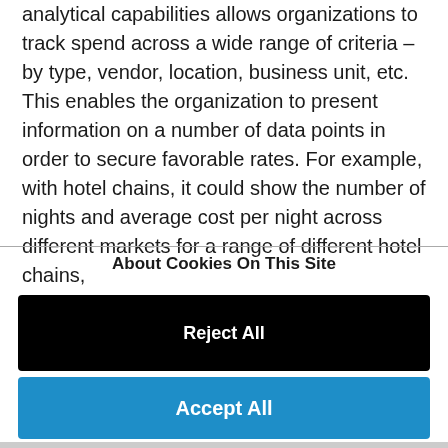analytical capabilities allows organizations to track spend across a wide range of criteria – by type, vendor, location, business unit, etc. This enables the organization to present information on a number of data points in order to secure favorable rates. For example, with hotel chains, it could show the number of nights and average cost per night across different markets for a range of different hotel chains,
About Cookies On This Site
Reject All
Accept All